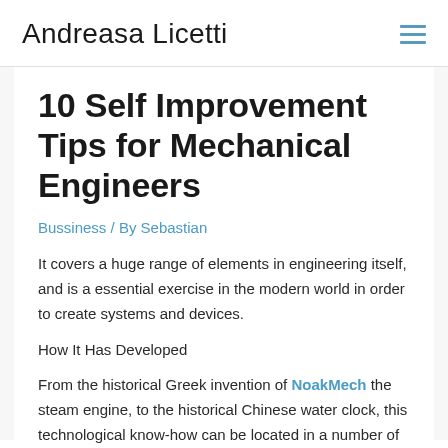Andreasa Licetti
10 Self Improvement Tips for Mechanical Engineers
Bussiness / By Sebastian
It covers a huge range of elements in engineering itself, and is a essential exercise in the modern world in order to create systems and devices.
How It Has Developed
From the historical Greek invention of NoakMech the steam engine, to the historical Chinese water clock, this technological know-how can be located in a number of ancient resources. It